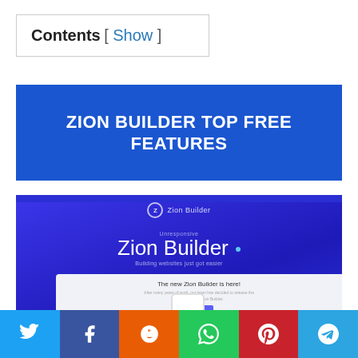Contents [ Show ]
ZION BUILDER TOP FREE FEATURES
[Figure (screenshot): Screenshot of the Zion Builder website homepage showing the Zion Builder logo, title 'Zion Builder', tagline 'Building websites just got easier', and a partial view of a landing page with a phone mockup]
[Figure (infographic): Social share bar with buttons for Twitter, Facebook, Reddit, WhatsApp, Pinterest, Telegram]